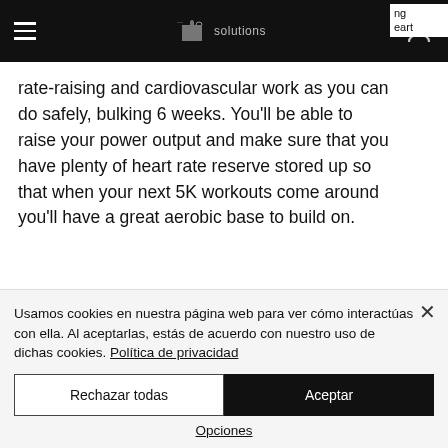[Figure (screenshot): Website navigation bar with hamburger menu, logo (puzzle piece with 'solutions' text), and user account icon on dark background]
rate-raising and cardiovascular work as you can do safely, bulking 6 weeks. You'll be able to raise your power output and make sure that you have plenty of heart rate reserve stored up so that when your next 5K workouts come around you'll have a great aerobic base to build on.
Running & Cardio
Usamos cookies en nuestra página web para ver cómo interactúas con ella. Al aceptarlas, estás de acuerdo con nuestro uso de dichas cookies. Política de privacidad
Rechazar todas
Aceptar
Opciones